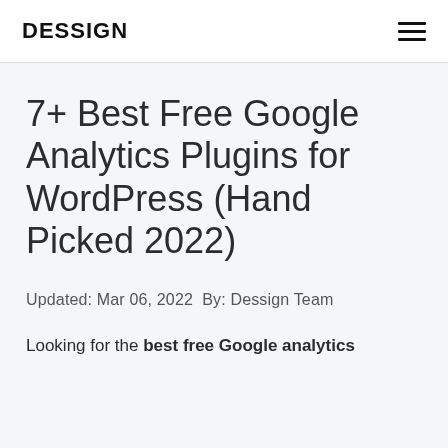DESSIGN
7+ Best Free Google Analytics Plugins for WordPress (Hand Picked 2022)
Updated: Mar 06, 2022 By: Dessign Team
Looking for the best free Google analytics